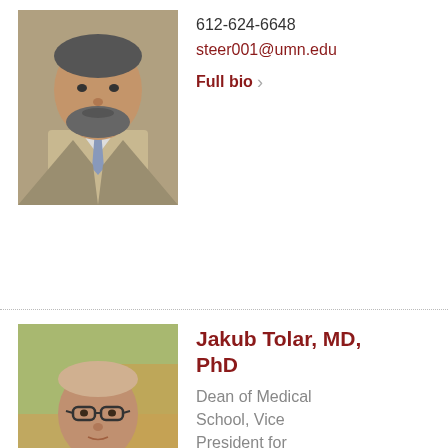[Figure (photo): Headshot of a middle-aged man with a beard wearing a suit and tie]
612-624-6648
steer001@umn.edu
Full bio >
[Figure (photo): Headshot of Jakub Tolar, a middle-aged man wearing glasses and a dark suit]
Jakub Tolar, MD, PhD
Dean of Medical School, Vice President for